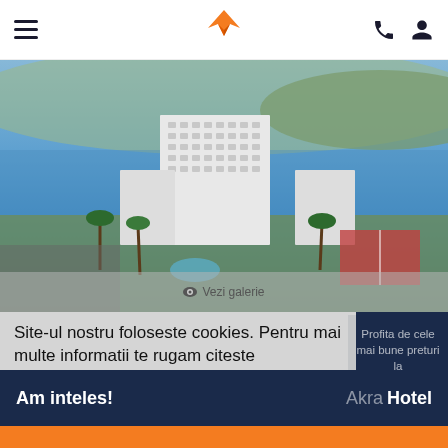Navigation bar with hamburger menu, bird logo, phone and user icons
[Figure (photo): Aerial view of a large white hotel building near a body of water, surrounded by palm trees and gardens]
👁 Vezi galerie
Site-ul nostru foloseste cookies. Pentru mai multe informatii te rugam citeste Despre Cookies si Politica confidentialitate
Profita de cele mai bune preturi la
Am inteles!
Akra Hotel